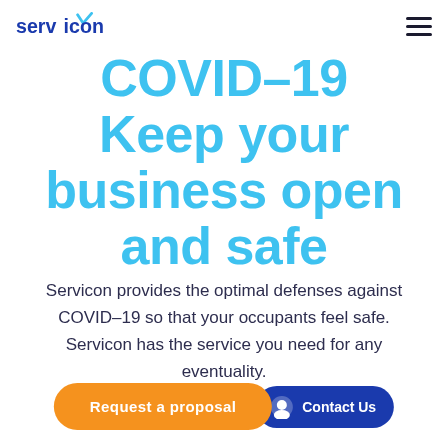servicon [logo] [hamburger menu]
COVID-19 Keep your business open and safe
Servicon provides the optimal defenses against COVID-19 so that your occupants feel safe. Servicon has the service you need for any eventuality.
Request a proposal
Contact Us